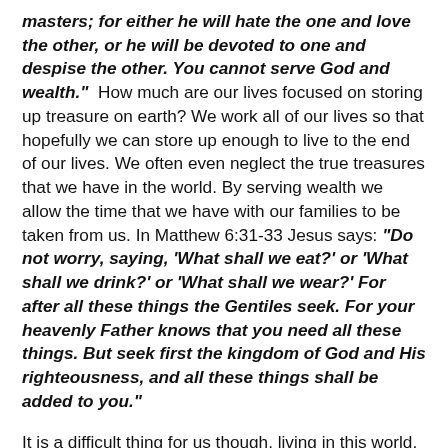masters; for either he will hate the one and love the other, or he will be devoted to one and despise the other. You cannot serve God and wealth." How much are our lives focused on storing up treasure on earth? We work all of our lives so that hopefully we can store up enough to live to the end of our lives. We often even neglect the true treasures that we have in the world. By serving wealth we allow the time that we have with our families to be taken from us. In Matthew 6:31-33 Jesus says: "Do not worry, saying, 'What shall we eat?' or 'What shall we drink?' or 'What shall we wear?' For after all these things the Gentiles seek. For your heavenly Father knows that you need all these things. But seek first the kingdom of God and His righteousness, and all these things shall be added to you."
It is a difficult thing for us though, living in this world, where everything costs so much money, to not get caught up in serving wealth. We are supposed to work and provide for our families. It is the right and righteous thing to do. 2 Thessalonians 3:10 says: When we were with you, we used to give you this order: if anyone is not willing to work, then he does not eat either. So how do...